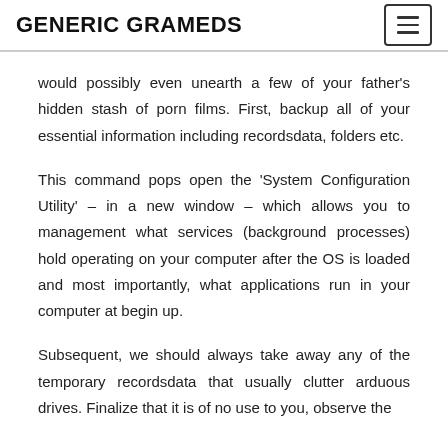GENERIC GRAMEDS
would possibly even unearth a few of your father's hidden stash of porn films. First, backup all of your essential information including recordsdata, folders etc.
This command pops open the 'System Configuration Utility' – in a new window – which allows you to management what services (background processes) hold operating on your computer after the OS is loaded and most importantly, what applications run in your computer at begin up.
Subsequent, we should always take away any of the temporary recordsdata that usually clutter arduous drives. Finalize that it is of no use to you, observe the